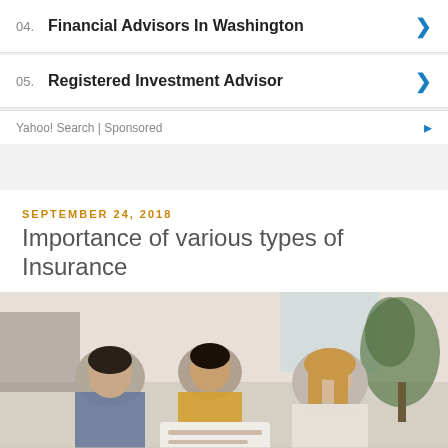04. Financial Advisors In Washington
05. Registered Investment Advisor
Yahoo! Search | Sponsored
SEPTEMBER 24, 2018
Importance of various types of Insurance
[Figure (photo): Three people (two women and a man) sitting together reviewing documents, in an indoor setting with plants and modern furniture in the background.]